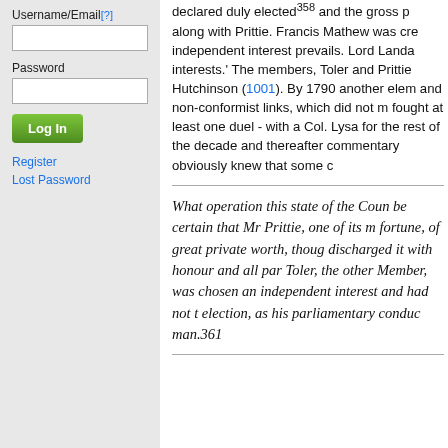Username/Email[?]
Password
Log In
Register
Lost Password
declared duly elected358 and the gross p... along with Prittie. Francis Mathew was cre... independent interest prevails. Lord Landa... interests.' The members, Toler and Prittie... Hutchinson (1001). By 1790 another elem... and non-conformist links, which did not m... fought at least one duel - with a Col. Lysa... for the rest of the decade and thereafter... commentary obviously knew that some c...
What operation this state of the Coun... be certain that Mr Prittie, one of its m... fortune, of great private worth, thoug... discharged it with honour and all par... Toler, the other Member, was chosen ... an independent interest and had not t... election, as his parliamentary conduc... man.361